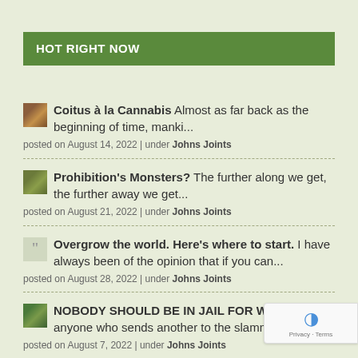HOT RIGHT NOW
Coitus à la Cannabis Almost as far back as the beginning of time, manki... posted on August 14, 2022 | under Johns Joints
Prohibition's Monsters? The further along we get, the further away we get... posted on August 21, 2022 | under Johns Joints
Overgrow the world. Here's where to start. I have always been of the opinion that if you can... posted on August 28, 2022 | under Johns Joints
NOBODY SHOULD BE IN JAIL FOR WEED In fac... anyone who sends another to the slammer f... posted on August 7, 2022 | under Johns Joints